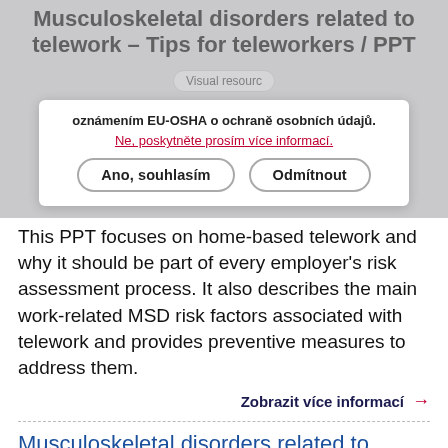Musculoskeletal disorders related to telework – Tips for teleworkers / PPT
[Figure (screenshot): Cookie consent banner overlaying the page content. Shows bold text about EU-OSHA personal data protection notice, a red underlined link 'Ne, poskytněte prosím více informací.', and two buttons: 'Ano, souhlasím' and 'Odmítnout'.]
This PPT focuses on home-based telework and why it should be part of every employer's risk assessment process. It also describes the main work-related MSD risk factors associated with telework and provides preventive measures to address them.
Zobrazit více informací →
Musculoskeletal disorders related to telework – Tips for employers
Visual resources   EU   English   EU-OSHA
This PPT focuses on home-based telework and